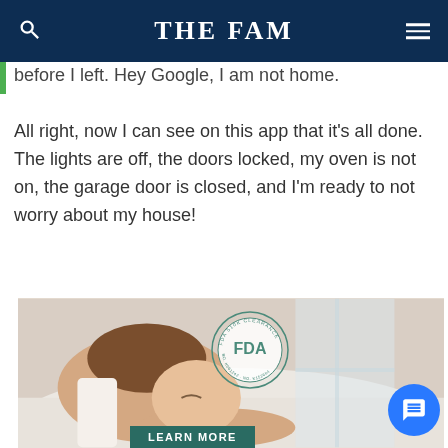THE FAM
before I left. Hey Google, I am not home.
All right, now I can see on this app that it's all done. The lights are off, the doors locked, my oven is not on, the garage door is closed, and I'm ready to not worry about my house!
[Figure (photo): Woman sleeping peacefully in bed with white bedding, with an FDA 510K Clearance stamp overlaid, and a LEARN MORE button at the bottom]